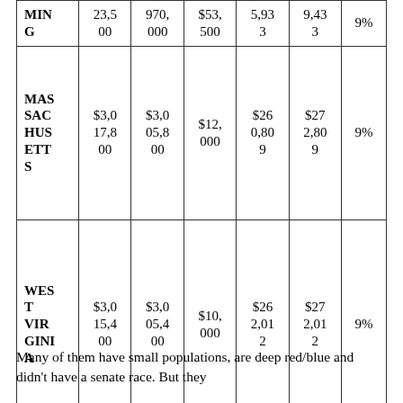| MING | 23,500 | 970,000 | $53,500 | 5,933 | 9,433 | 9% |
| MASSACHUSETTS | $3,017,800 | $3,005,800 | $12,000 | $260,809 | $272,809 | 9% |
| WEST VIRGINIA | $3,015,400 | $3,005,400 | $10,000 | $262,012 | $272,012 | 9% |
Many of them have small populations, are deep red/blue and didn't have a senate race. But they